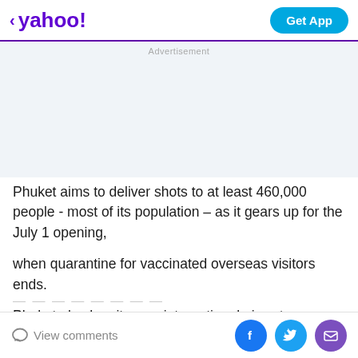< yahoo! | Get App
Advertisement
Phuket aims to deliver shots to at least 460,000 people - most of its population – as it gears up for the July 1 opening,
when quarantine for vaccinated overseas visitors ends.
Phuket also has its own international airport,
View comments | Facebook | Twitter | Mail